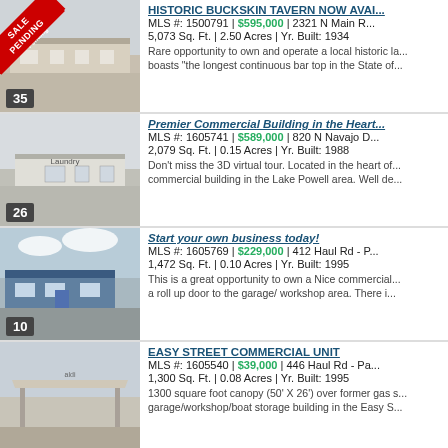[Figure (photo): Exterior photo of historic Buckskin Tavern building, flat desert structure, 'Sale Pending' ribbon, badge number 35]
HISTORIC BUCKSKIN TAVERN NOW AVAI...
MLS #: 1500791 | $595,000 | 2321 N Main R...
5,073 Sq. Ft. | 2.50 Acres | Yr. Built: 1934
Rare opportunity to own and operate a local historic la... boasts "the longest continuous bar top in the State of...
[Figure (photo): Exterior photo of small white commercial building, badge number 26]
Premier Commercial Building in the Heart...
MLS #: 1605741 | $589,000 | 820 N Navajo D...
2,079 Sq. Ft. | 0.15 Acres | Yr. Built: 1988
Don't miss the 3D virtual tour. Located in the heart of... commercial building in the Lake Powell area. Well de...
[Figure (photo): Exterior photo of blue and white commercial building with parking lot, badge number 10]
Start your own business today!
MLS #: 1605769 | $229,000 | 412 Haul Rd - P...
1,472 Sq. Ft. | 0.10 Acres | Yr. Built: 1995
This is a great opportunity to own a Nice commercial... a roll up door to the garage/ workshop area. There i...
[Figure (photo): Exterior photo of former gas station canopy structure, badge number not visible]
EASY STREET COMMERCIAL UNIT
MLS #: 1605540 | $39,000 | 446 Haul Rd - Pa...
1,300 Sq. Ft. | 0.08 Acres | Yr. Built: 1995
1300 square foot canopy (50' X 26') over former gas s... garage/workshop/boat storage building in the Easy S...